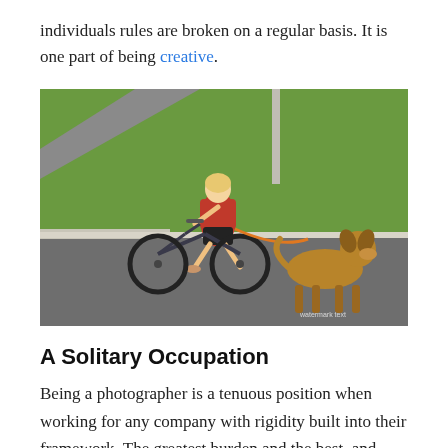individuals rules are broken on a regular basis. It is one part of being creative.
[Figure (photo): A woman in a red shirt and black shorts rides a bicycle on a paved path, holding the leash of a large brown dog running alongside. Green grass and a curb are visible in the background.]
A Solitary Occupation
Being a photographer is a tenuous position when working for any company with rigidity built into their framework. The greatest burden and the best, and most important work result in the responsibility landing on the photographer's shoulders. This is the